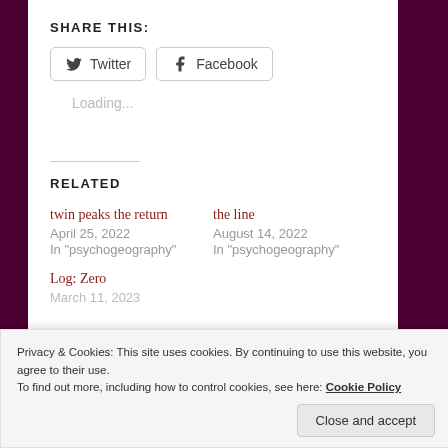SHARE THIS:
Twitter  Facebook
Loading...
RELATED
twin peaks the return
April 25, 2022
In "psychogeography"
the line
August 14, 2022
In "psychogeography"
Log: Zero
March 11, 2023
Privacy & Cookies: This site uses cookies. By continuing to use this website, you agree to their use.
To find out more, including how to control cookies, see here: Cookie Policy
Close and accept